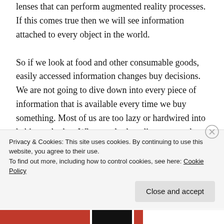lenses that can perform augmented reality processes. If this comes true then we will see information attached to every object in the world.
So if we look at food and other consumable goods, easily accessed information changes buy decisions. We are not going to dive down into every piece of information that is available every time we buy something. Most of us are too lazy or hardwired into habits to do that. When we look at discovery and trial of new products or an alternative it does matter. In this area information and influencers will be very important. In a shopping ecosystem like Amazon search is vital for discovery
Privacy & Cookies: This site uses cookies. By continuing to use this website, you agree to their use.
To find out more, including how to control cookies, see here: Cookie Policy
Close and accept